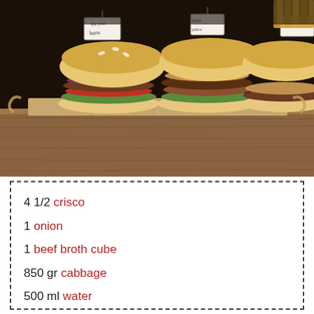[Figure (photo): Three gourmet burgers with toppings served on a wooden cutting board tray, with price tags visible, photographed in a dark setting.]
4 1/2 crisco
1 onion
1 beef broth cube
850 gr cabbage
500 ml water